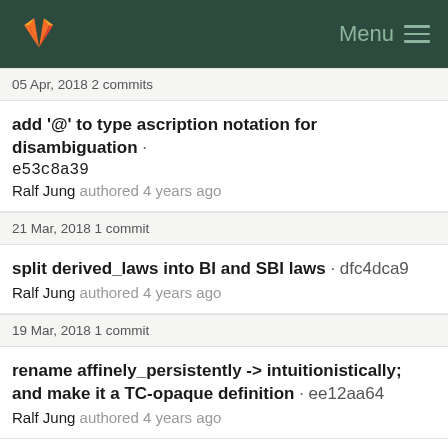GitLab Menu
05 Apr, 2018 2 commits
add '@' to type ascription notation for disambiguation · e53c8a39
Ralf Jung authored 4 years ago
21 Mar, 2018 1 commit
split derived_laws into BI and SBI laws · dfc4dca9
Ralf Jung authored 4 years ago
19 Mar, 2018 1 commit
rename affinely_persistently -> intuitionistically; and make it a TC-opaque definition · ee12aa64
Ralf Jung authored 4 years ago